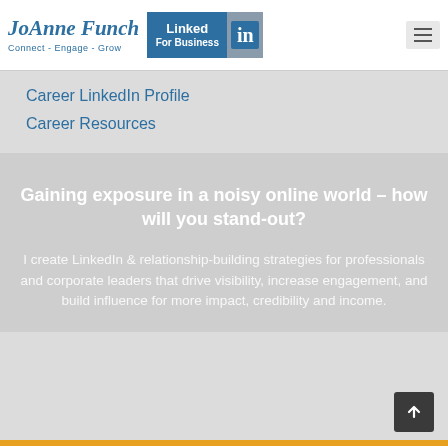[Figure (logo): JoAnne Funch logo with tagline 'Connect - Engage - Grow' and LinkedIn For Business badge]
Career LinkedIn Profile
Career Resources
Gaining exposure in a noisy online world – how will you stand-out?
I create LinkedIn & relationship-building strategies for professionals and corporate leaders that drive visibility, increase engagement, and build influence for more impact, credibility and income.